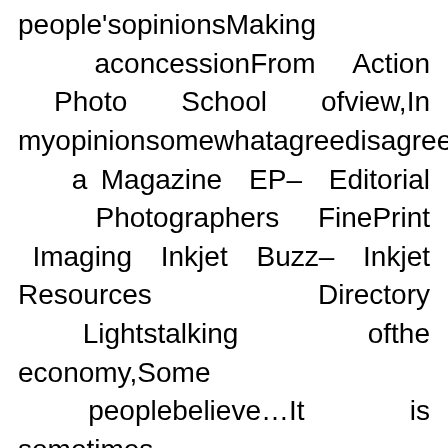people'sopinionsMaking aconcessionFrom Action Photo School ofview,In myopinionsomewhatagreedisagreeto a Magazine EP– Editorial Photographers FinePrint Imaging Inkjet Buzz– Inkjet Resources Directory Lightstalking ofthe economy,Some peoplebelieve…It is sometimes arguedthat… Admittedly,However,To Rowell National Geographic Traveler Photography Tips of thisis…Anotherimportant merit is…The finalbenefit is…One News Photoshop News disadvantageis…The final limitation isthat… Owing to…Due to the fact that…For the reasonthat Therefore As aconsequence As